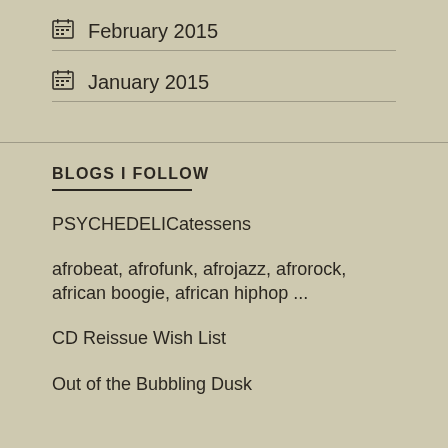February 2015
January 2015
BLOGS I FOLLOW
PSYCHEDELICatessens
afrobeat, afrofunk, afrojazz, afrorock, african boogie, african hiphop ...
CD Reissue Wish List
Out of the Bubbling Dusk